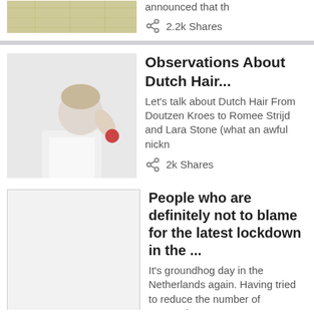announced that th
2.2k Shares
Observations About Dutch Hair...
Let’s talk about Dutch Hair From Doutzen Kroes to Romee Strijd and Lara Stone (what an awful nickn
2k Shares
The Five Unwritten Rules of Dutch Society...
What are the unwritten rules of Dutch society? A member of the Amsterdam Shallow Man Facebook group
1.9k Shares
People who are definitely not to blame for the latest lockdown in the ...
It’s groundhog day in the Netherlands again. Having tried to reduce the number of coronavirus
1.7k Shares
My First Two Dates With Dutch Guys in